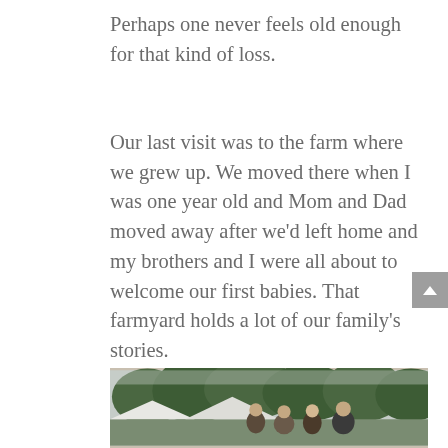Perhaps one never feels old enough for that kind of loss.
Our last visit was to the farm where we grew up. We moved there when I was one year old and Mom and Dad moved away after we'd left home and my brothers and I were all about to welcome our first babies. That farmyard holds a lot of our family's stories.
[Figure (photo): A group of people standing outdoors with green trees in the background, partially visible at the bottom of the page.]